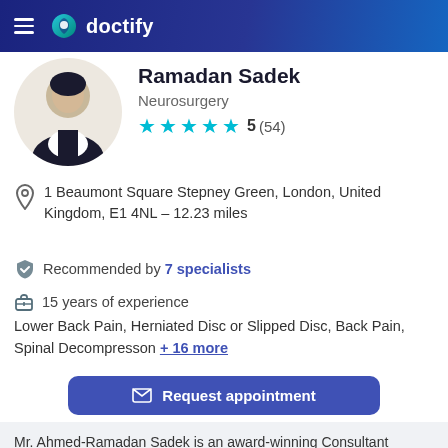doctify
Ramadan Sadek
Neurosurgery
5 (54)
1 Beaumont Square Stepney Green, London, United Kingdom, E1 4NL - 12.23 miles
Recommended by 7 specialists
15 years of experience
Lower Back Pain, Herniated Disc or Slipped Disc, Back Pain, Spinal Decompresson + 16 more
Request appointment
Mr. Ahmed-Ramadan Sadek is an award-winning Consultant Neurosurgeon who